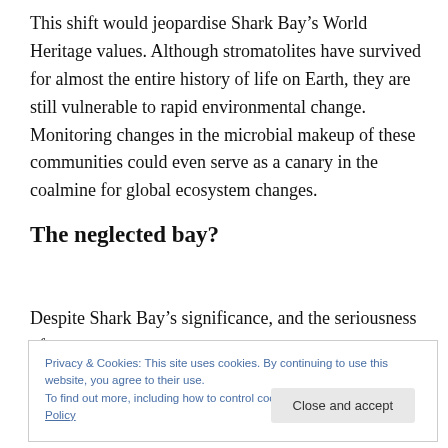This shift would jeopardise Shark Bay's World Heritage values. Although stromatolites have survived for almost the entire history of life on Earth, they are still vulnerable to rapid environmental change. Monitoring changes in the microbial makeup of these communities could even serve as a canary in the coalmine for global ecosystem changes.
The neglected bay?
Despite Shark Bay's significance, and the seriousness of
Privacy & Cookies: This site uses cookies. By continuing to use this website, you agree to their use.
To find out more, including how to control cookies, see here: Cookie Policy